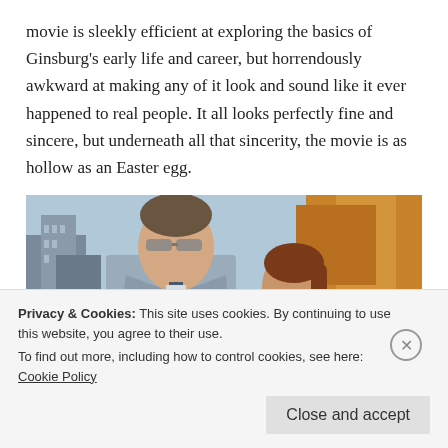movie is sleekly efficient at exploring the basics of Ginsburg's early life and career, but horrendously awkward at making any of it look and sound like it ever happened to real people. It all looks perfectly fine and sincere, but underneath all that sincerity, the movie is as hollow as an Easter egg.
[Figure (photo): A man in a grey suit with sunglasses and a woman in dark clothing standing outdoors with autumn trees and city buildings in the background.]
Privacy & Cookies: This site uses cookies. By continuing to use this website, you agree to their use. To find out more, including how to control cookies, see here: Cookie Policy
Close and accept